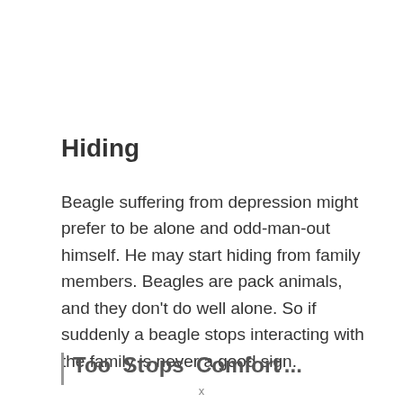Hiding
Beagle suffering from depression might prefer to be alone and odd-man-out himself. He may start hiding from family members. Beagles are pack animals, and they don’t do well alone. So if suddenly a beagle stops interacting with the family is never a good sign.
Too Stops Comfort...
x